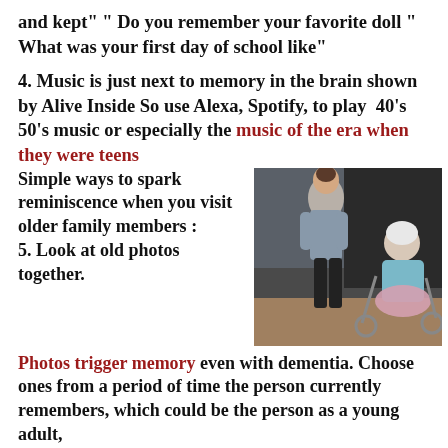and kept" " Do you remember your favorite doll " What was your first day of school like"
4. Music is just next to memory in the brain shown by Alive Inside So use Alexa, Spotify, to play  40's 50's music or especially the music of the era when they were teens Simple ways to spark reminiscence when you visit older family members :
[Figure (photo): A younger woman standing and an older woman seated outdoors, appearing to have a conversation or interaction.]
5. Look at old photos together. Photos trigger memory even with dementia. Choose ones from a period of time the person currently remembers, which could be the person as a young adult,